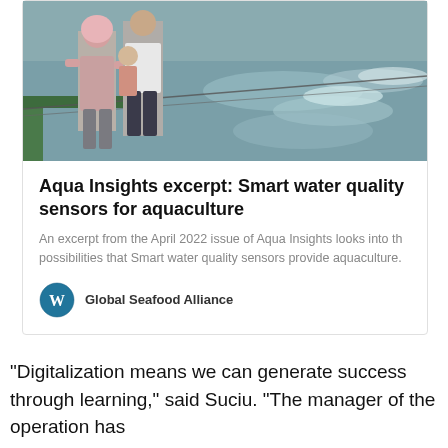[Figure (photo): Two people standing near aquaculture ponds with aeration equipment creating ripples in the water. One person wears a pink hijab, the other wears a white t-shirt.]
Aqua Insights excerpt: Smart water quality sensors for aquaculture
An excerpt from the April 2022 issue of Aqua Insights looks into the possibilities that Smart water quality sensors provide aquaculture.
Global Seafood Alliance
“Digitalization means we can generate success through learning,” said Suciu. “The manager of the operation has